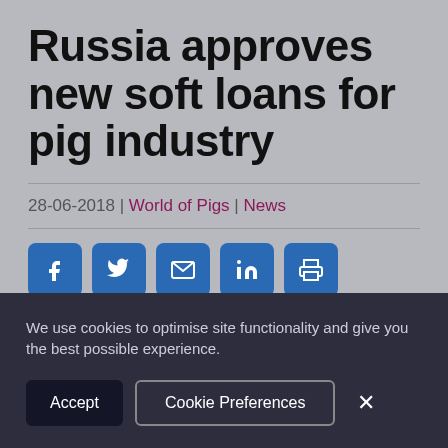Russia approves new soft loans for pig industry
28-06-2018 | World of Pigs | News
[Figure (other): Social sharing buttons: Facebook, Twitter, Email, LinkedIn, Print]
Russia's ministry of agriculture has approved the issuance of 340 billion roubles (US$34 billion)
We use cookies to optimise site functionality and give you the best possible experience.
Accept | Cookie Preferences | ×